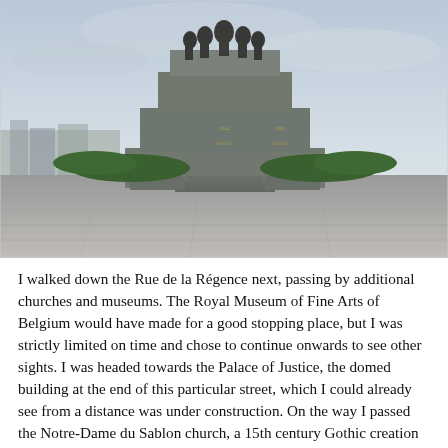[Figure (photo): Photograph of a large stone monument or memorial with bronze statues of figures at the top, set on a massive tiered granite pedestal with inscriptions. Green hedges flank the base steps. The background shows an overcast sky and a cityscape in the distance. The foreground is a broad stone plaza.]
I walked down the Rue de la Régence next, passing by additional churches and museums. The Royal Museum of Fine Arts of Belgium would have made for a good stopping place, but I was strictly limited on time and chose to continue onwards to see other sights. I was headed towards the Palace of Justice, the domed building at the end of this particular street, which I could already see from a distance was under construction. On the way I passed the Notre-Dame du Sablon church, a 15th century Gothic creation with the typical weighty style lightened by colorful stained glass